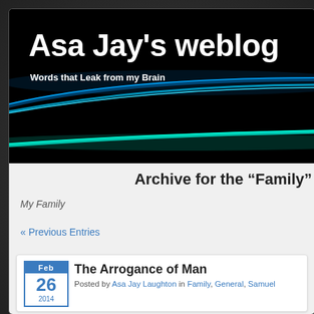Asa Jay's weblog
Words that Leak from my Brain
Archive for the “Family”
My Family
« Previous Entries
The Arrogance of Man
Posted by Asa Jay Laughton in Family, General, Samuel
Feb 26 2014